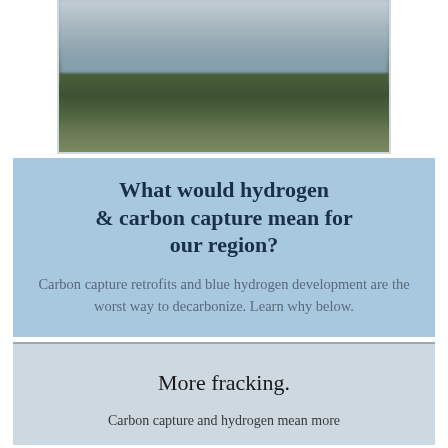[Figure (photo): Outdoor landscape photo showing a green field or rural area under a cloudy grey sky, partially blurred]
What would hydrogen & carbon capture mean for our region?
Carbon capture retrofits and blue hydrogen development are the worst way to decarbonize. Learn why below.
More fracking.
Carbon capture and hydrogen mean more